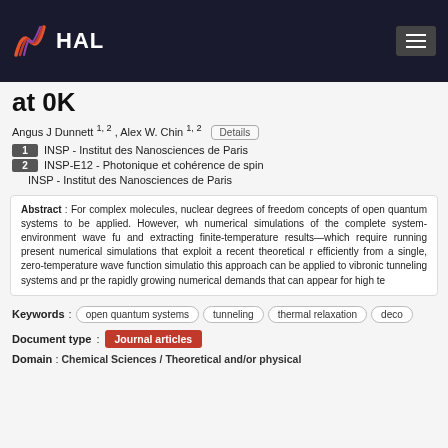HAL
at 0K
Angus J Dunnett 1, 2 , Alex W. Chin 1, 2
1 INSP - Institut des Nanosciences de Paris
2 INSP-E12 - Photonique et cohérence de spin
INSP - Institut des Nanosciences de Paris
Abstract : For complex molecules, nuclear degrees of freedom concepts of open quantum systems to be applied. However, w numerical simulations of the complete system-environment wave f and extracting finite-temperature results—which require running present numerical simulations that exploit a recent theoretical r efficiently from a single, zero-temperature wave function simulatio this approach can be applied to vibronic tunneling systems and pr the rapidly growing numerical demands that can appear for high te
Keywords : open quantum systems  tunneling  thermal relaxation  deco
Document type : Journal articles
Domain : Chemical Sciences / Theoretical and/or physical